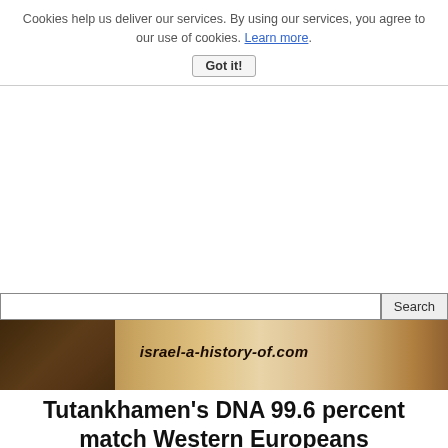Cookies help us deliver our services. By using our services, you agree to our use of cookies. Learn more.
Got it!
[Figure (illustration): Website banner for israel-a-history-of.com with sepia-toned historic image on left and site name text in center, with search bar above]
Tutankhamen's DNA 99.6 percent match Western Europeans